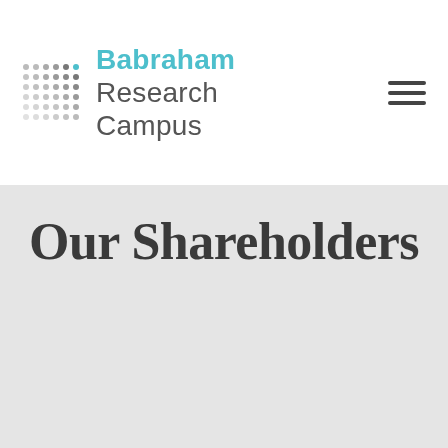Babraham Research Campus
Our Shareholders